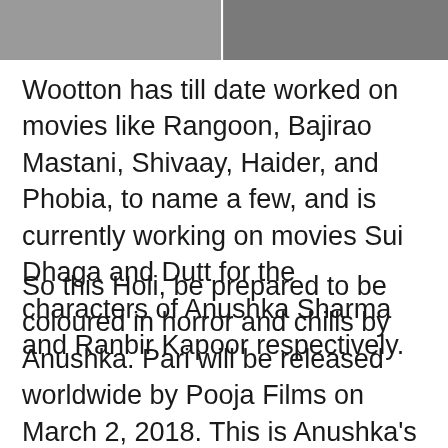[Figure (photo): Two side-by-side movie stills or photos, cropped at the top of the page]
Wootton has till date worked on movies like Rangoon, Bajirao Mastani, Shivaay, Haider, and Phobia, to name a few, and is currently working on movies Sui Dhaga and Dutt for the characters of Anushka Sharma and Ranbir Kapoor respectively.
So this Holi, be prepared to be coloured in horror and chills by Anushka. Pari will be released worldwide by Pooja Films on March 2, 2018. This is Anushka's third film under her home production, Clean Slate Films. The other two were, NH10 and Phillauri. It is presented by KriArj Entertainment and Kyta Productions. The movie is directed by debutant Prosit Roy and also stars